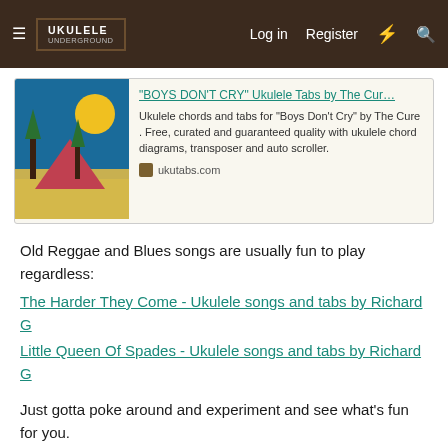≡ UKULELE UNDERGROUND | Log in  Register
[Figure (screenshot): Link preview card for 'BOYS DON'T CRY' Ukulele Tabs by The Cur... with album art thumbnail and description from ukutabs.com]
Old Reggae and Blues songs are usually fun to play regardless:
The Harder They Come - Ukulele songs and tabs by Richard G
Little Queen Of Spades - Ukulele songs and tabs by Richard G
Just gotta poke around and experiment and see what's fun for you.
TopDog
Active member